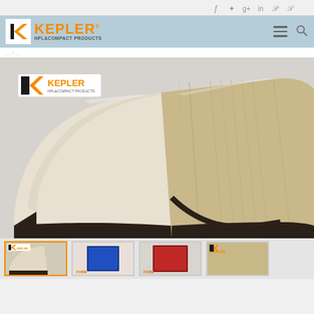Kepler HPL & Compact Products - social navigation and logo header bar
[Figure (photo): Two curved HPL/compact panel samples on a white surface. Left panel is cream/beige colored, right panel has a wood-grain finish. Both show dark core edges underneath the curved shape.]
[Figure (photo): Thumbnail row showing four small product images: cream curved panel, blue panel, red panel, and another Kepler branded panel.]